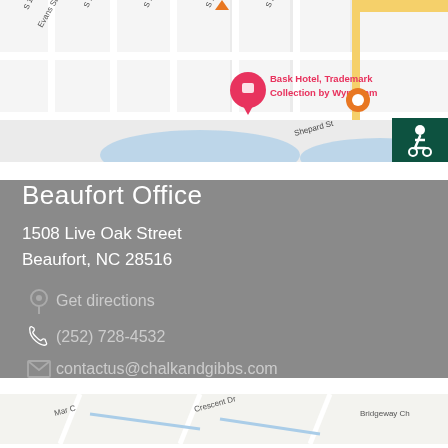[Figure (map): Google Maps view showing street grid near Bask Hotel, Trademark Collection by Wyndham, with streets labeled S 13th St, S 12th St, S 11th St, S 10th St, S 9th St, Evans St, Shepard St, and a blue water area at bottom. Pink hotel pin and orange map marker visible. Wheelchair accessibility icon in dark green box top-right.]
Beaufort Office
1508 Live Oak Street
Beaufort, NC 28516
Get directions
(252) 728-4532
contactus@chalkandgibbs.com
[Figure (map): Google Maps partial view showing Mar C, Crescent Dr, and Bridgeway Ch labels with road lines on light background.]